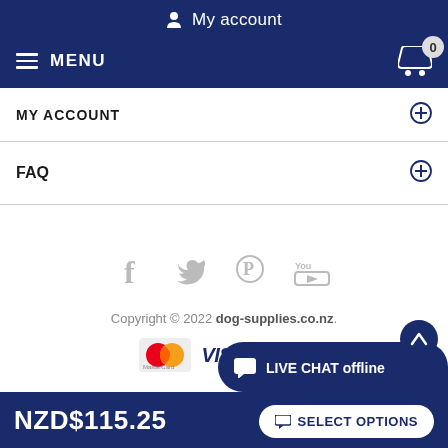My account
MY ACCOUNT
FAQ
[Figure (infographic): Social media icons: Facebook, Twitter, Pinterest, YouTube in grey]
Copyright © 2022 dog-supplies.co.nz.
[Figure (infographic): Payment logos: MasterCard, VISA, PayPal]
LIVE CHAT offline
NZD$115.25
SELECT OPTIONS